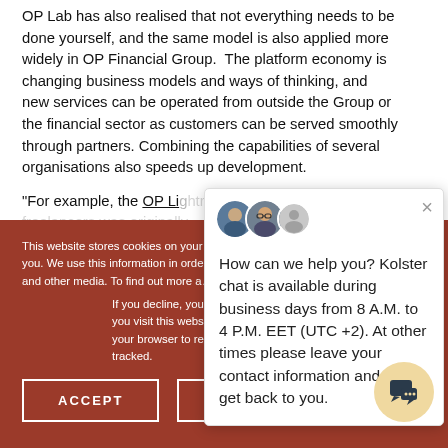OP Lab has also realised that not everything needs to be done yourself, and the same model is also applied more widely in OP Financial Group. The platform economy is changing business models and ways of thinking, and new services can be operated from outside the Group or the financial sector as customers can be served smoothly through partners. Combining the capabilities of several organisations also speeds up development.
"For example, the OP Lig... freelancers was originally...
This website stores cookies on your... information about how you interact... you. We use this information in order... experience and for analytics and m... and other media. To find out more a...
If you decline, your in... you visit this website... your browser to reme... tracked.
[Figure (screenshot): Chat popup with two avatar photos and a generic person icon, close button (×), and message: 'How can we help you? Kolster chat is available during business days from 8 A.M. to 4 P.M. EET (UTC +2). At other times please leave your contact information and we'll get back to you.']
ACCEPT
DECLINE